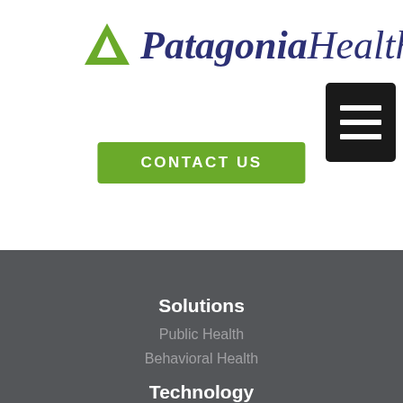[Figure (logo): Patagonia Health logo with green triangle icon and dark blue italic text]
CONTACT US
[Figure (other): Black hamburger menu button with three horizontal white lines]
Solutions
Public Health
Behavioral Health
Technology
Apps Based